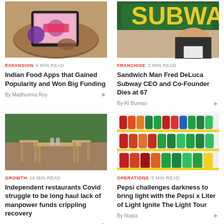[Figure (photo): A tablet showing a food app on a wooden table with hands and a purple vegetable visible]
EXPANSION 6 MIN READ
Indian Food Apps that Gained Popularity and Won Big Funding
By Madhurima Roy
[Figure (photo): A man smiling in front of a Subway restaurant sign]
FRANCHISE 2 MIN READ
Sandwich Man Fred DeLuca Subway CEO and Co-Founder Dies at 67
By RI Bureau
[Figure (photo): Outdoor restaurant seating with wooden tables and chairs against a green hedge wall]
GROWTH 14 MIN READ
Independent restaurants Covid struggle to be long haul lack of manpower funds crippling recovery
[Figure (photo): Shelves stocked with colorful beverage bottles including Pepsi, soft drinks arranged in rows]
OPERATIONS 5 MIN READ
Pepsi challenges darkness to bring light with the Pepsi x Liter of Light Ignite The Light Tour
By Nusra